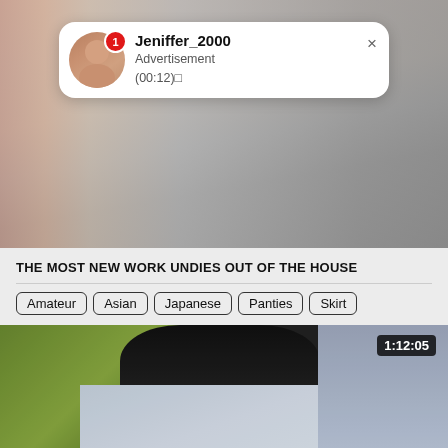[Figure (screenshot): Top portion showing a bedroom photo background with a notification overlay card. The card shows a user avatar with badge '1', username 'Jeniffer_2000', text 'Advertisement (00:12)□', and a close X button.]
THE MOST NEW WORK UNDIES OUT OF THE HOUSE
Amateur
Asian
Japanese
Panties
Skirt
[Figure (screenshot): Video thumbnail showing a blurry scene with green background and dark figure leaning over white clothing/fabric. Timer shows 1:12:05 in top right. Close X button in bottom right.]